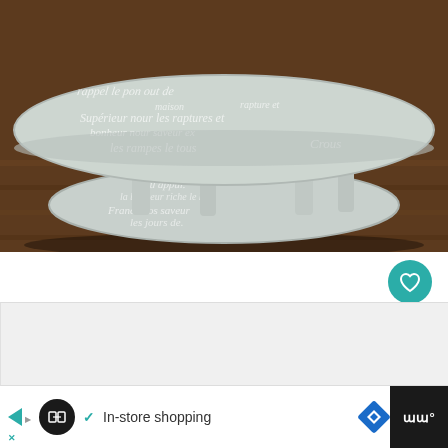[Figure (photo): A round white chalk-painted coffee table with two tiers decorated with French-script stenciling in white on a light blue-gray background, sitting on a dark wood floor.]
[Figure (other): Circular teal/green heart icon button for favoriting]
[Figure (other): White circular share button with share icon]
WHAT'S NEXT → A Curbside Kitchen Tabl...
[Figure (thumbnail): Small circular thumbnail showing a curbside kitchen table project]
✓ In-store shopping